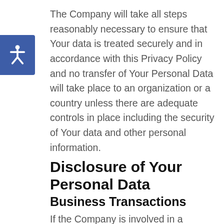The Company will take all steps reasonably necessary to ensure that Your data is treated securely and in accordance with this Privacy Policy and no transfer of Your Personal Data will take place to an organization or a country unless there are adequate controls in place including the security of Your data and other personal information.
Disclosure of Your Personal Data
Business Transactions
If the Company is involved in a